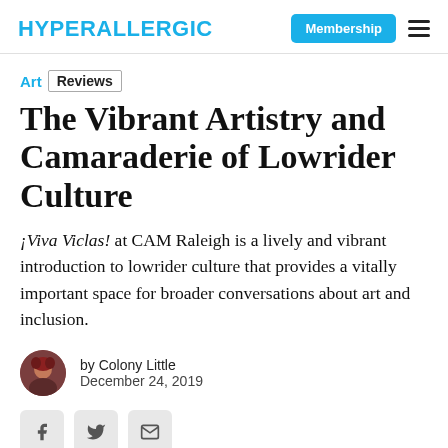HYPERALLERGIC | Membership
Art  Reviews
The Vibrant Artistry and Camaraderie of Lowrider Culture
¡Viva Viclas! at CAM Raleigh is a lively and vibrant introduction to lowrider culture that provides a vitally important space for broader conversations about art and inclusion.
by Colony Little
December 24, 2019
[Figure (other): Social share buttons: Facebook, Twitter, Email]